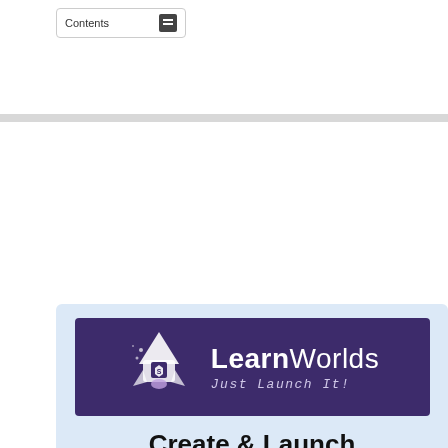Contents
[Figure (logo): LearnWorlds logo on purple banner with tagline 'Just Launch It!' and rocket graphic]
Create & Launch Profitable Course in 4 Weeks!